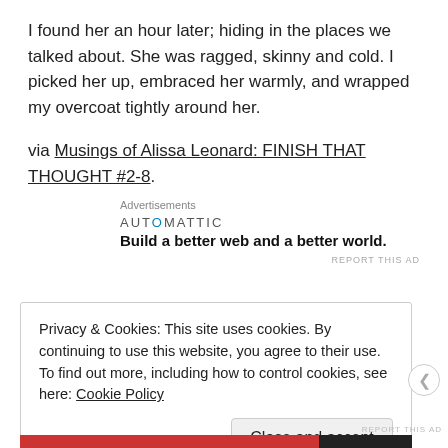I found her an hour later; hiding in the places we talked about. She was ragged, skinny and cold. I picked her up, embraced her warmly, and wrapped my overcoat tightly around her.
via Musings of Alissa Leonard: FINISH THAT THOUGHT #2-8.
Advertisements
AUTOMATTIC
Build a better web and a better world.
REPORT THIS AD
Privacy & Cookies: This site uses cookies. By continuing to use this website, you agree to their use.
To find out more, including how to control cookies, see here: Cookie Policy
Close and accept
REPORT THIS AD